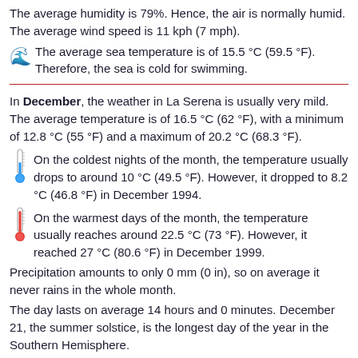The average humidity is 79%. Hence, the air is normally humid. The average wind speed is 11 kph (7 mph).
🌊 The average sea temperature is of 15.5 °C (59.5 °F). Therefore, the sea is cold for swimming.
In December, the weather in La Serena is usually very mild. The average temperature is of 16.5 °C (62 °F), with a minimum of 12.8 °C (55 °F) and a maximum of 20.2 °C (68.3 °F).
🌡️ On the coldest nights of the month, the temperature usually drops to around 10 °C (49.5 °F). However, it dropped to 8.2 °C (46.8 °F) in December 1994.
🌡️ On the warmest days of the month, the temperature usually reaches around 22.5 °C (73 °F). However, it reached 27 °C (80.6 °F) in December 1999.
Precipitation amounts to only 0 mm (0 in), so on average it never rains in the whole month.
The day lasts on average 14 hours and 0 minutes. December 21, the summer solstice, is the longest day of the year in the Southern Hemisphere.
☀️ The sun...